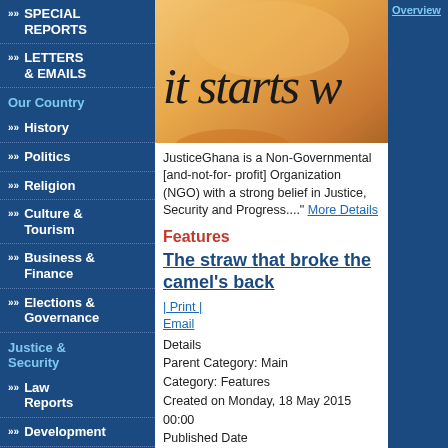▶▶ SPECIAL REPORTS
▶▶ LETTERS & EMAILS
Our Country
▶▶ History
▶▶ Politics
▶▶ Religion
▶▶ Culture & Tourism
▶▶ Business & Finance
▶▶ Elections & Governance
Justice & Security
▶▶ Law Reports
▶▶ Development
▶▶ Defence & Security
▶▶ Law Commentaries
▶▶ International Justice
[Figure (photo): Cropped photo with orange/warm background showing text 'it starts w' in dark italic font — partial book or motivational image]
JusticeGhana is a Non-Governmental [and-not-for- profit] Organization (NGO) with a strong belief in Justice, Security and Progress...." More Details
Features
The straw that broke the camel's back
| Print | Email
Details
Parent Category: Main
Category: Features
Created on Monday, 18 May 2015 00:00
Published Date
Overview